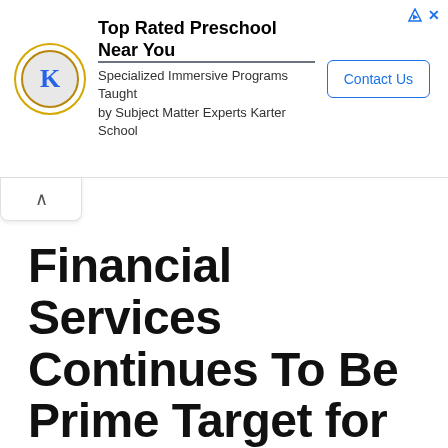[Figure (screenshot): Advertisement banner for Karter School (Top Rated Preschool Near You) with logo, text, and Contact Us button]
Financial Services Continues To Be Prime Target for Ransomeware Attacks; Barracuda Research Reveals
August 25, 2022 by sumwint69